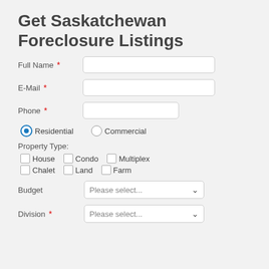Get Saskatchewan Foreclosure Listings
Full Name *
E-Mail *
Phone *
Residential  Commercial
Property Type:
House  Condo  Multiplex  Chalet  Land  Farm
Budget  Please select...
Division *  Please select...